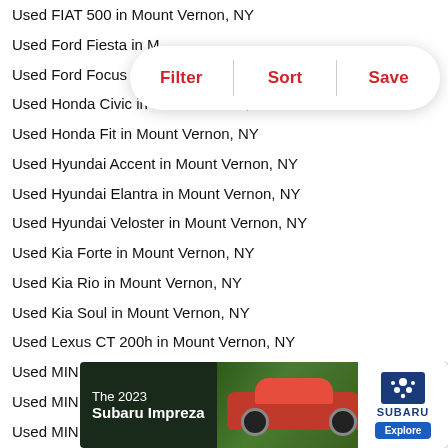Used FIAT 500 in Mount Vernon, NY
Used Ford Fiesta in Mount Vernon, NY
Used Ford Focus in Mount Vernon, NY
Used Honda Civic in Mount Vernon, NY
Used Honda Fit in Mount Vernon, NY
Used Hyundai Accent in Mount Vernon, NY
Used Hyundai Elantra in Mount Vernon, NY
Used Hyundai Veloster in Mount Vernon, NY
Used Kia Forte in Mount Vernon, NY
Used Kia Rio in Mount Vernon, NY
Used Kia Soul in Mount Vernon, NY
Used Lexus CT 200h in Mount Vernon, NY
Used MINI Cooper Countryman in Mount Vernon, NY
Used MINI Cooper in Mount Vernon, NY
Used MINI Cooper in Mount Vernon, NY
Used MINI Cooper in Mount Vernon, NY
Used Mazda Mazda3 in Mount Vernon, NY
Used Mitsubishi Lancer Evolution in Mount Vernon, NY
Used Mitsubishi Lancer in Mount Vernon, NY
Used Nissan JUKE in Mount Vernon, NY
[Figure (infographic): Filter, Sort, Save pill-shaped overlay button]
[Figure (infographic): Subaru Impreza 2023 advertisement banner with red car image and Subaru logo]